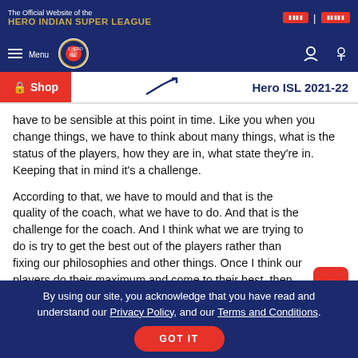The Official Website of the HERO INDIAN SUPER LEAGUE
Menu | Hero ISL 2021-22 | Shop
have to be sensible at this point in time. Like you when you change things, we have to think about many things, what is the status of the players, how they are in, what state they're in. Keeping that in mind it's a challenge.
According to that, we have to mould and that is the quality of the coach, what we have to do. And that is the challenge for the coach. And I think what we are trying to do is try to get the best out of the players rather than fixing our philosophies and other things. Once I think our players do their maximum and come to their best, then will be a strong side.
By using our site, you acknowledge that you have read and understand our Privacy Policy, and our Terms and Conditions. GOT IT